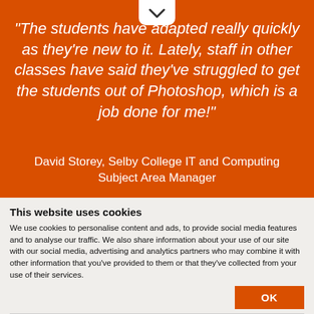"The students have adapted really quickly as they're new to it. Lately, staff in other classes have said they've struggled to get the students out of Photoshop, which is a job done for me!"
David Storey, Selby College IT and Computing Subject Area Manager
This website uses cookies
We use cookies to personalise content and ads, to provide social media features and to analyse our traffic. We also share information about your use of our site with our social media, advertising and analytics partners who may combine it with other information that you've provided to them or that they've collected from your use of their services.